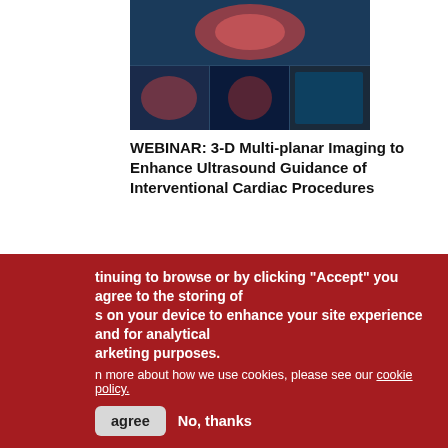[Figure (photo): Medical imaging / cardiac ultrasound screenshot collage]
WEBINAR: 3-D Multi-planar Imaging to Enhance Ultrasound Guidance of Interventional Cardiac Procedures
Read More
[Figure (photo): Doctor examining medical X-ray imaging on screen]
WEBINAR: Transforming Interventional Cardiology With Structured Reporting
By continuing to browse or by clicking "Accept" you agree to the storing of cookies on your device to enhance your site experience and for analytical and marketing purposes.
To learn more about how we use cookies, please see our cookie policy.
I agree
No, thanks